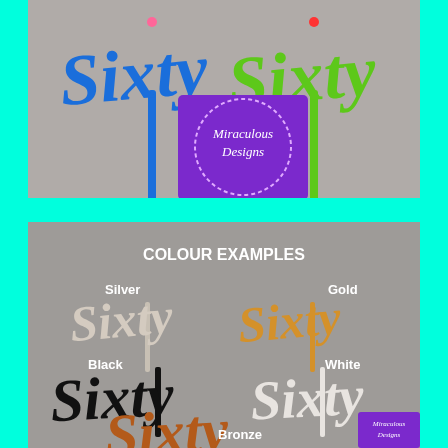[Figure (photo): Two 'Sixty' cake toppers on a grey background. Left topper is blue, right topper is green. A purple square logo with 'Miraculous Designs' text is overlaid in the center.]
[Figure (photo): Colour examples of 'Sixty' cake toppers on grey background. Shows four colour variants labeled: Silver (top-left, beige/grey), Gold (top-right, golden yellow), Black (bottom-left, black), White (bottom-right, white). Bronze topper partially visible at the bottom. Miraculous Designs logo partially visible at bottom right.]